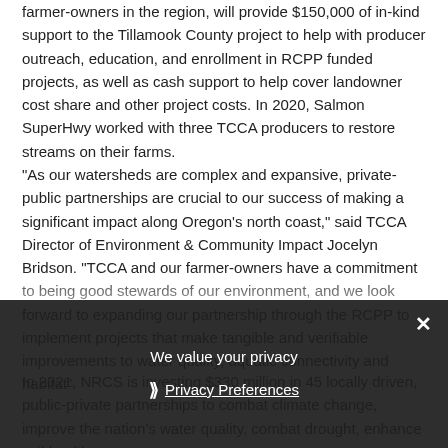farmer-owners in the region, will provide $150,000 of in-kind support to the Tillamook County project to help with producer outreach, education, and enrollment in RCPP funded projects, as well as cash support to help cover landowner cost share and other project costs. In 2020, Salmon SuperHwy worked with three TCCA producers to restore streams on their farms.
“As our watersheds are complex and expansive, private-public partnerships are crucial to our success of making a significant impact along Oregon’s north coast,” said TCCA Director of Environment & Community Impact Jocelyn Bridson. “TCCA and our farmer-owners have a commitment to being good stewards of our environment, and we look forward to expanding our partnership through the RCPP to implement projects that make tangible and verifiable improvements to water quality, aquatic connectivity and habitat”.
In 2021, NRCS is investing $330 million in 45 locally driven, public-private partnerships to combat climate change, improve the nation’s water quality, combat drought, enhance soil health,
We value your privacy
Privacy Preferences